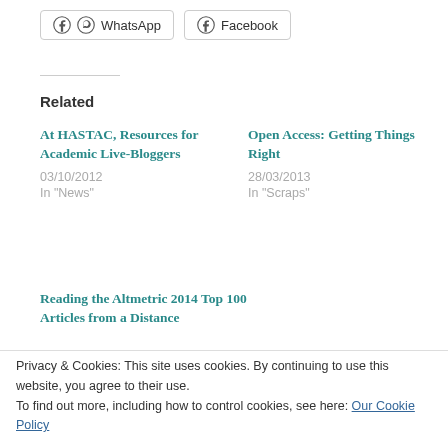WhatsApp
Facebook
Related
At HASTAC, Resources for Academic Live-Bloggers
03/10/2012
In "News"
Open Access: Getting Things Right
28/03/2013
In "Scraps"
Reading the Altmetric 2014 Top 100 Articles from a Distance
Privacy & Cookies: This site uses cookies. By continuing to use this website, you agree to their use.
To find out more, including how to control cookies, see here: Our Cookie Policy
Close and accept